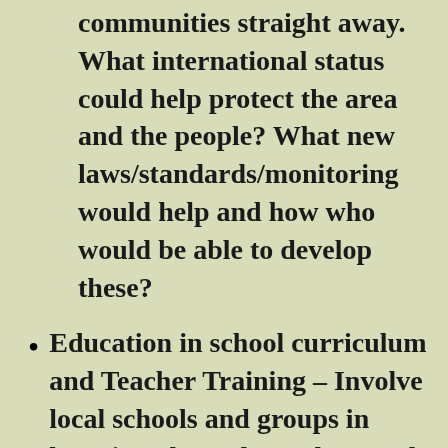communities straight away. What international status could help protect the area and the people? What new laws/standards/monitoring would help and how who would be able to develop these?
Education in school curriculum and Teacher Training – Involve local schools and groups in learning about the ecology and biodiversity and in protecting and regenerating it, help with the